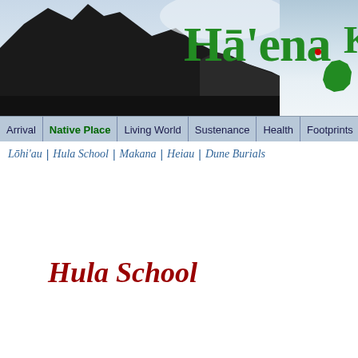[Figure (photo): Header banner with mountain/coastal landscape photo on left and Hāʻena title text in green with Hawaii map silhouette on right]
Arrival | Native Place | Living World | Sustenance | Health | Footprints
Lōhiʻau | Hula School | Makana | Heiau | Dune Burials
Hula School